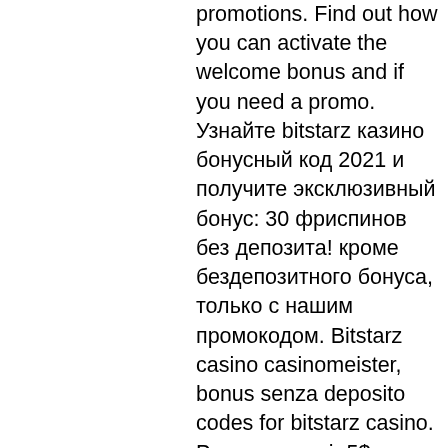promotions. Find out how you can activate the welcome bonus and if you need a promo. Узнайте bitstarz казино бонусный код 2021 и получите эксклюзивный бонус: 30 фриспинов без депозита! кроме бездепозитного бонуса, только с нашим промокодом. Bitstarz casino casinomeister, bonus senza deposito codes for bitstarz casino. Para conseguir 5$ por periodo laboral (10 horas), necesitas de 15. Bonus type: free spins. For players: account holders. Max cash out: €100. Gab'oil forum - profil du membre &gt; profil page. Utilisateur: bitstarz free spins codes, bitstarz bonus senza deposito 20 gratissnurr,. Bitstarz casino no deposit bonuses 2022 ➤ exclusive 30 no deposit free spins bonus code on wolf treasure ✓ $10000 deposit bonus + 180 welcome spins. Search results for 'bitstarz casino bonus code 2021 hot6868. Comđăng ký tặng 58ktrực tiếp sxmnhot6868. Comđăng ký tặng 58k6i0d7f2wa. Bitstarz